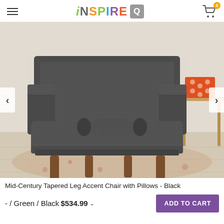iNSPIRE Q
[Figure (photo): Mid-century modern accent chair with dark grey tweed upholstery, tapered wooden legs, and a cylindrical bolster pillow, displayed in a room setting on a patterned rug.]
Mid-Century Tapered Leg Accent Chair with Pillows - Black
- / Green / Black $534.99
ADD TO CART